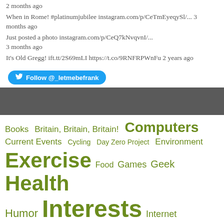2 months ago
When in Rome! #platinumjubilee instagram.com/p/CeTmEyeqySl/... 3 months ago
Just posted a photo instagram.com/p/CeQ7kNvqvnI/... 3 months ago
It's Old Gregg! ift.tt/2S69mLI https://t.co/9RNFRPWnFu 2 years ago
Follow @_letmebefrank
Books  Britain, Britain, Britain!  Computers  Current Events  Cycling  Day Zero Project  Environment  Exercise  Food  Games  Geek  Health  Humor  Interests  Internet  Kudos